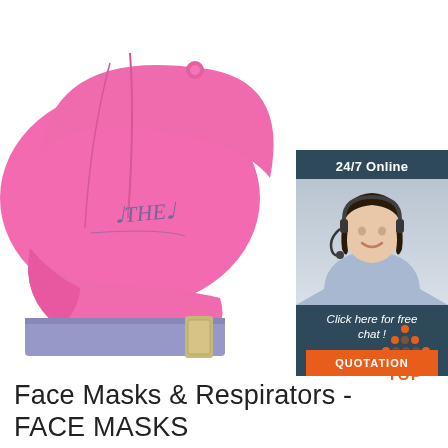[Figure (photo): Back view of a pink baseball cap with embroidered 'THE' text, purple/lavender adjustable strap, on white background. Overlaid with a chat widget showing a customer service agent wearing a headset, with '24/7 Online' header, 'Click here for free chat!' text, and orange 'QUOTATION' button.]
[Figure (other): Orange 'TOP' button with upward-pointing triangle/arrow made of dots above the text]
Face Masks & Respirators - FACE MASKS